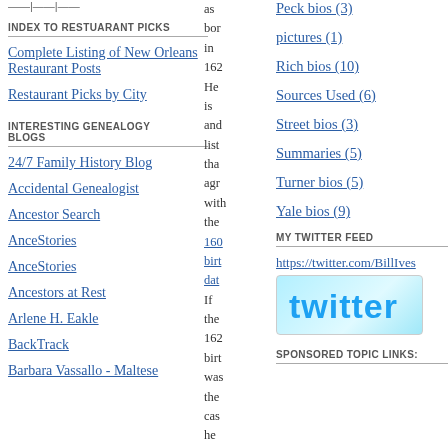——|——|——
INDEX TO RESTUARANT PICKS
Complete Listing of New Orleans Restaurant Posts
Restaurant Picks by City
INTERESTING GENEALOGY BLOGS
24/7 Family History Blog
Accidental Genealogist
Ancestor Search
AnceStories
AnceStories
Ancestors at Rest
Arlene H. Eakle
BackTrack
Barbara Vassallo - Maltese
as bor in 162 He is and list tha agr with the 160 birt dat If the 162 birt was the cas he
Peck bios (3)
pictures (1)
Rich bios (10)
Sources Used (6)
Street bios (3)
Summaries (5)
Turner bios (5)
Yale bios (9)
MY TWITTER FEED
https://twitter.com/BillIves
[Figure (logo): Twitter logo image with light blue background]
SPONSORED TOPIC LINKS: